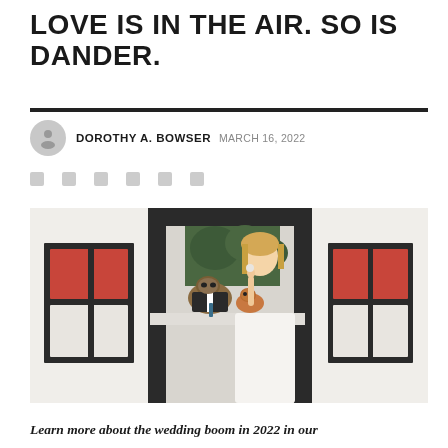LOVE IS IN THE AIR. SO IS DANDER.
DOROTHY A. BOWSER  MARCH 16, 2022
[Figure (photo): A woman in a white wedding dress leaning through a large window opening of a white structure with dark trim, holding two dogs dressed in formal attire (one in a tiny suit with a tie, one smaller dog). The background shows greenery. The structure has decorative dark-framed windows with red accents.]
Learn more about the wedding boom in 2022 in our